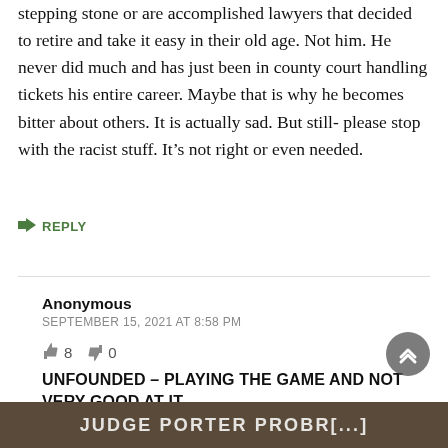stepping stone or are accomplished lawyers that decided to retire and take it easy in their old age. Not him. He never did much and has just been in county court handling tickets his entire career. Maybe that is why he becomes bitter about others. It is actually sad. But still- please stop with the racist stuff. It’s not right or even needed.
➜ REPLY
Anonymous
SEPTEMBER 15, 2021 AT 8:58 PM
👍 8  👎 0
UNFOUNDED – PLAYING THE GAME AND NOT VERY GOOD AT IT
[Figure (screenshot): Partially visible dark brown image strip at the bottom of the page showing white bold uppercase text, partially cut off.]